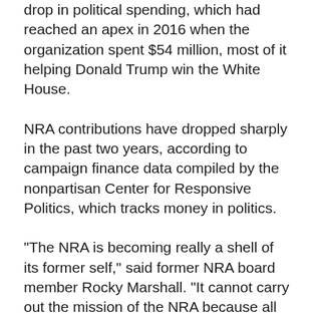drop in political spending, which had reached an apex in 2016 when the organization spent $54 million, most of it helping Donald Trump win the White House.
NRA contributions have dropped sharply in the past two years, according to campaign finance data compiled by the nonpartisan Center for Responsive Politics, which tracks money in politics.
"The NRA is becoming really a shell of its former self," said former NRA board member Rocky Marshall. "It cannot carry out the mission of the NRA because all the money is being spent on attorneys."
Marshall is backing a push to replace LaPierre